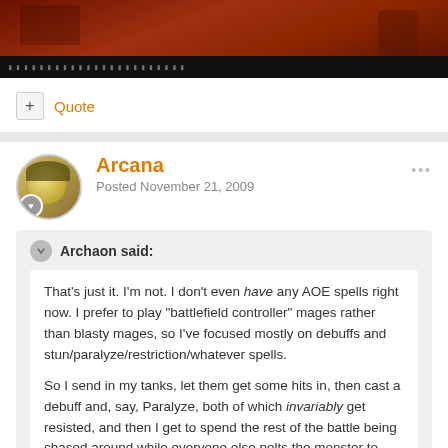[Figure (screenshot): Game screenshot with dark red/orange background, showing a game scene with a black bar at bottom containing UI text]
+ Quote
Arcana
Posted November 21, 2009
Archaon said:
That's just it. I'm not. I don't even have any AOE spells right now. I prefer to play "battlefield controller" mages rather than blasty mages, so I've focused mostly on debuffs and stun/paralyze/restriction/whatever spells.

So I send in my tanks, let them get some hits in, then cast a debuff and, say, Paralyze, both of which invariably get resisted, and then I get to spend the rest of the battle being chased around while everyone else pelts the monster to death with arrows.